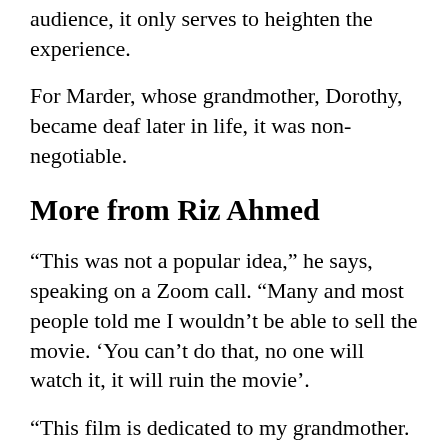audience, it only serves to heighten the experience.
For Marder, whose grandmother, Dorothy, became deaf later in life, it was non-negotiable.
More from Riz Ahmed
“This was not a popular idea,” he says, speaking on a Zoom call. “Many and most people told me I wouldn’t be able to sell the movie. ‘You can’t do that, no one will watch it, it will ruin the movie’.
“This film is dedicated to my grandmother. She was stuck between hearing and deaf culture, without any access to either, and it really unravelled her.